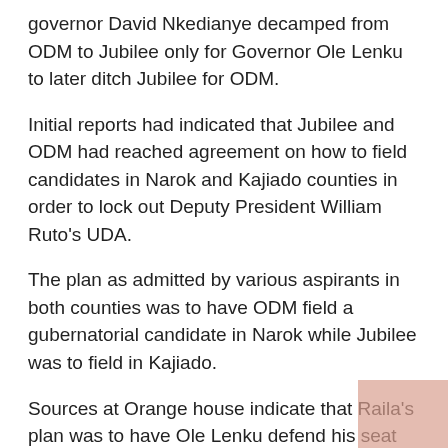governor David Nkedianye decamped from ODM to Jubilee only for Governor Ole Lenku to later ditch Jubilee for ODM.
Initial reports had indicated that Jubilee and ODM had reached agreement on how to field candidates in Narok and Kajiado counties in order to lock out Deputy President William Ruto's UDA.
The plan as admitted by various aspirants in both counties was to have ODM field a gubernatorial candidate in Narok while Jubilee was to field in Kajiado.
Sources at Orange house indicate that Raila's plan was to have Ole Lenku defend his seat on the ODM ticket,a reason the governor switched